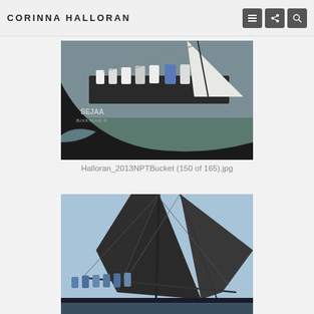CORINNA HALLORAN
[Figure (photo): Sailboat named SEJAA from Block Island, RI with crew members on deck during a race, dark hull in choppy water]
Halloran_2013NPTBucket (150 of 165).jpg
[Figure (photo): Sailing yacht with large dark sails, crew members sitting along the rail, blue sky in background]